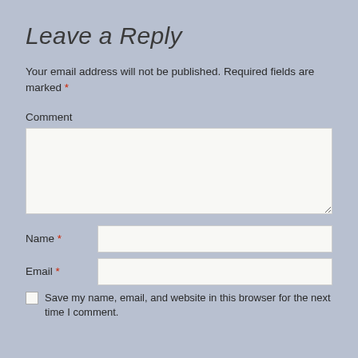Leave a Reply
Your email address will not be published. Required fields are marked *
Comment
Name *
Email *
Save my name, email, and website in this browser for the next time I comment.